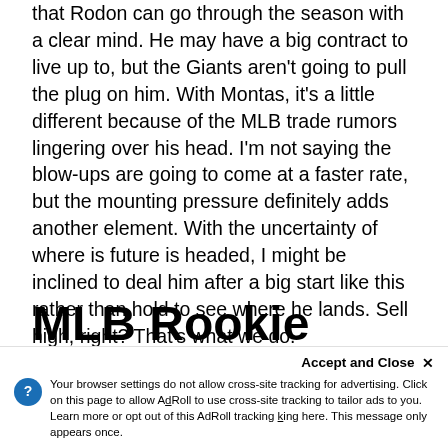that Rodon can go through the season with a clear mind. He may have a big contract to live up to, but the Giants aren't going to pull the plug on him. With Montas, it's a little different because of the MLB trade rumors lingering over his head. I'm not saying the blow-ups are going to come at a faster rate, but the mounting pressure definitely adds another element. With the uncertainty of where is future is headed, I might be inclined to deal him after a big start like this rather than hold to see where he lands. Sell high, right? That's what we do.
MLB Rookie Julio Rodríguez Continues His Dominance
Accept and Close ×
Your browser settings do not allow cross-site tracking for advertising. Click on this page to allow AdRoll to use cross-site tracking to tailor ads to you. Learn more or opt out of this AdRoll tracking by clicking here. This message only appears once.